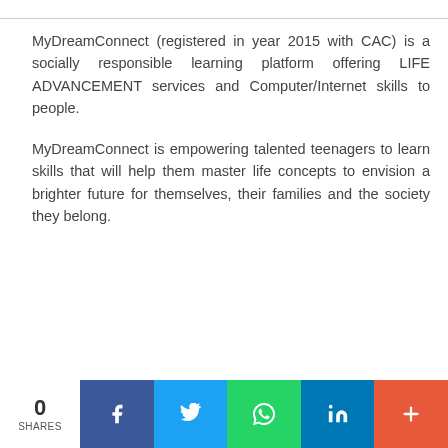MyDreamConnect (registered in year 2015 with CAC) is a socially responsible learning platform offering LIFE ADVANCEMENT services and Computer/Internet skills to people.
MyDreamConnect is empowering talented teenagers to learn skills that will help them master life concepts to envision a brighter future for themselves, their families and the society they belong.
0 SHARES | Facebook | Twitter | WhatsApp | LinkedIn | More